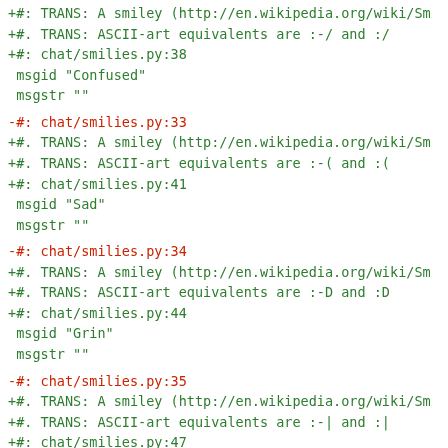+#: TRANS: A smiley (http://en.wikipedia.org/wiki/Sm
+#. TRANS: ASCII-art equivalents are :-/ and :/
+#: chat/smilies.py:38
 msgid "Confused"
 msgstr ""
-#: chat/smilies.py:33
+#. TRANS: A smiley (http://en.wikipedia.org/wiki/Sm
+#. TRANS: ASCII-art equivalents are :-( and :(
+#: chat/smilies.py:41
 msgid "Sad"
 msgstr ""
-#: chat/smilies.py:34
+#. TRANS: A smiley (http://en.wikipedia.org/wiki/Sm
+#. TRANS: ASCII-art equivalents are :-D and :D
+#: chat/smilies.py:44
 msgid "Grin"
 msgstr ""
-#: chat/smilies.py:35
+#. TRANS: A smiley (http://en.wikipedia.org/wiki/Sm
+#. TRANS: ASCII-art equivalents are :-| and :|
+#: chat/smilies.py:47
 msgid "Neutral"
 msgstr ""
-#: chat/smilies.py:36
+#. TRANS: A smiley (http://en.wikipedia.org/wiki/Sm
+#. TRANS: ASCII-art equivalents are :-O, :O, =-O an
+#: chat/smilies.py:50